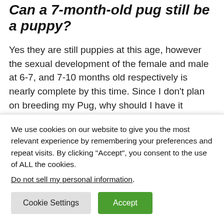Can a 7-month-old pug still be a puppy?
Yes they are still puppies at this age, however the sexual development of the female and male at 6-7, and 7-10 months old respectively is nearly complete by this time. Since I don’t plan on breeding my Pug, why should I have it altered?
When to spay or neuter a female pug?
Most veterinarians recommend spaying female
We use cookies on our website to give you the most relevant experience by remembering your preferences and repeat visits. By clicking “Accept”, you consent to the use of ALL the cookies.
Do not sell my personal information.